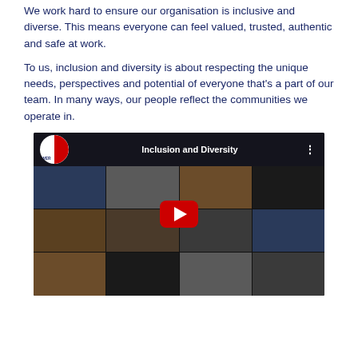We work hard to ensure our organisation is inclusive and diverse. This means everyone can feel valued, trusted, authentic and safe at work.
To us, inclusion and diversity is about respecting the unique needs, perspectives and potential of everyone that's a part of our team. In many ways, our people reflect the communities we operate in.
[Figure (screenshot): YouTube video embed thumbnail titled 'Inclusion and Diversity' showing a grid of diverse people's faces with a red play button in the center and a channel icon in the top left corner.]